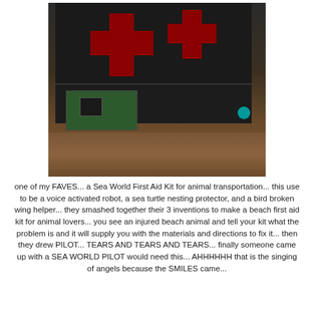[Figure (photo): Photo of a homemade first aid kit box wrapped in black tape with red cross symbols on top, containing a green circuit board with electronic components. The box is open and sitting on a wooden table surface.]
one of my FAVES... a Sea World First Aid Kit for animal transportation... this use to be a voice activated robot, a sea turtle nesting protector, and a bird broken wing helper... they smashed together their 3 inventions to make a beach first aid kit for animal lovers... you see an injured beach animal and tell your kit what the problem is and it will supply you with the materials and directions to fix it... then they drew PILOT... TEARS AND TEARS AND TEARS... finally someone came up with a SEA WORLD PILOT would need this... AHHHHHH that is the singing of angels because the SMILES came...